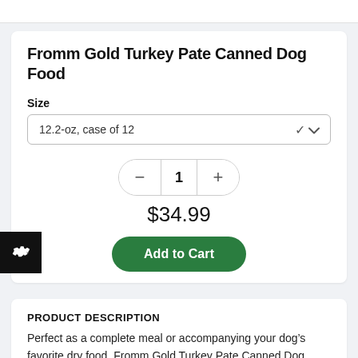Fromm Gold Turkey Pate Canned Dog Food
Size
12.2-oz, case of 12
1
$34.99
Add to Cart
PRODUCT DESCRIPTION
Perfect as a complete meal or accompanying your dog's favorite dry food, Fromm Gold Turkey Pate Canned Dog Food provides